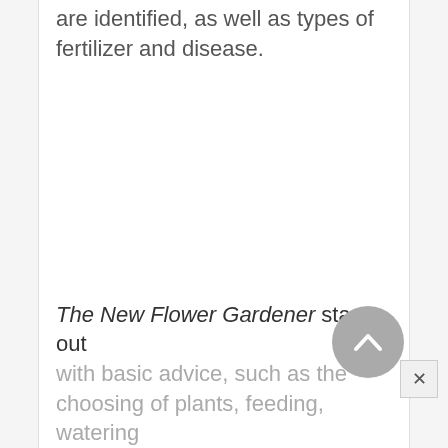are identified, as well as types of fertilizer and disease.
The New Flower Gardener starts out with basic advice, such as the choosing of plants, feeding, watering